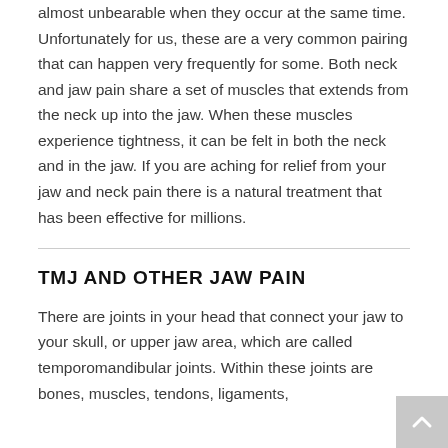almost unbearable when they occur at the same time. Unfortunately for us, these are a very common pairing that can happen very frequently for some. Both neck and jaw pain share a set of muscles that extends from the neck up into the jaw. When these muscles experience tightness, it can be felt in both the neck and in the jaw. If you are aching for relief from your jaw and neck pain there is a natural treatment that has been effective for millions.
TMJ AND OTHER JAW PAIN
There are joints in your head that connect your jaw to your skull, or upper jaw area, which are called temporomandibular joints. Within these joints are bones, muscles, tendons, ligaments,